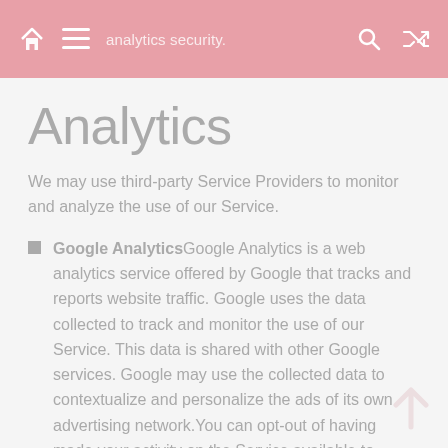Analytics
We may use third-party Service Providers to monitor and analyze the use of our Service.
Google AnalyticsGoogle Analytics is a web analytics service offered by Google that tracks and reports website traffic. Google uses the data collected to track and monitor the use of our Service. This data is shared with other Google services. Google may use the collected data to contextualize and personalize the ads of its own advertising network.You can opt-out of having made your activity on the Service available to Google Analytics by installing the Google Analytics opt-out browser add-on. The add-on prevents the Google Analytics JavaScript (ga.js, analytics.js, and dc.js) from sharing information